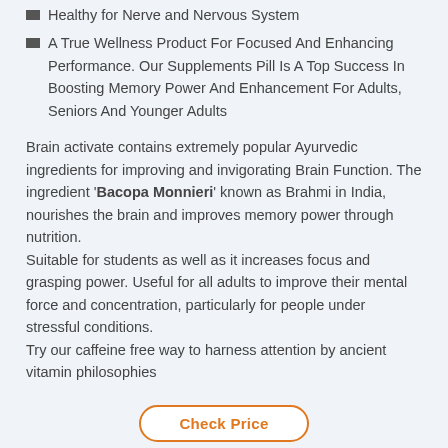Healthy for Nerve and Nervous System
A True Wellness Product For Focused And Enhancing Performance. Our Supplements Pill Is A Top Success In Boosting Memory Power And Enhancement For Adults, Seniors And Younger Adults
Brain activate contains extremely popular Ayurvedic ingredients for improving and invigorating Brain Function. The ingredient 'Bacopa Monnieri' known as Brahmi in India, nourishes the brain and improves memory power through nutrition.
Suitable for students as well as it increases focus and grasping power. Useful for all adults to improve their mental force and concentration, particularly for people under stressful conditions.
Try our caffeine free way to harness attention by ancient vitamin philosophies